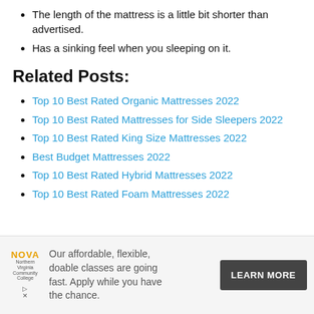The length of the mattress is a little bit shorter than advertised.
Has a sinking feel when you sleeping on it.
Related Posts:
Top 10 Best Rated Organic Mattresses 2022
Top 10 Best Rated Mattresses for Side Sleepers 2022
Top 10 Best Rated King Size Mattresses 2022
Best Budget Mattresses 2022
Top 10 Best Rated Hybrid Mattresses 2022
Top 10 Best Rated Foam Mattresses 2022
[Figure (infographic): NOVA Northern Virginia Community College advertisement: Our affordable, flexible, doable classes are going fast. Apply while you have the chance. LEARN MORE button.]